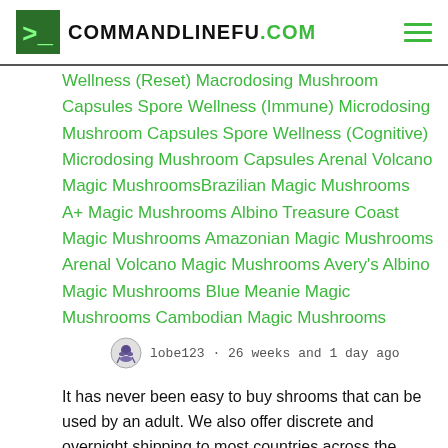COMMANDLINEFU.COM
Wellness (Reset) Macrodosing Mushroom Capsules Spore Wellness (Immune) Microdosing Mushroom Capsules Spore Wellness (Cognitive) Microdosing Mushroom Capsules Arenal Volcano Magic MushroomsBrazilian Magic Mushrooms A+ Magic Mushrooms Albino Treasure Coast Magic Mushrooms Amazonian Magic Mushrooms Arenal Volcano Magic Mushrooms Avery's Albino Magic Mushrooms Blue Meanie Magic Mushrooms Cambodian Magic Mushrooms
lobe123 · 26 weeks and 1 day ago
It has never been easy to buy shrooms that can be used by an adult. We also offer discrete and overnight shipping to most countries across the globe. CONTACT DETAILS Website...https://shroomspolkadot.com/ Email  shroomspolkadot@gmail.com